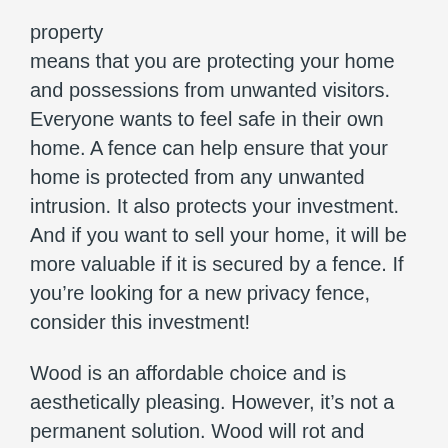property means that you are protecting your home and possessions from unwanted visitors. Everyone wants to feel safe in their own home. A fence can help ensure that your home is protected from any unwanted intrusion. It also protects your investment. And if you want to sell your home, it will be more valuable if it is secured by a fence. If you're looking for a new privacy fence, consider this investment!
Wood is an affordable choice and is aesthetically pleasing. However, it's not a permanent solution. Wood will rot and deteriorate over time, which will require costly repairs. Alternatively, vinyl fencing will last for decades and require no maintenance at all. Aside from being durable, vinyl will keep its look clean. A privacy fence is an investment in your